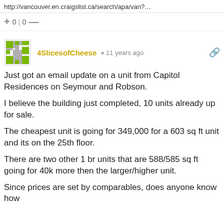http://vancouver.en.craigslist.ca/search/apa/van?…
+ 0 | 0 —
4SlicesofCheese  11 years ago
Just got an email update on a unit from Capitol Residences on Seymour and Robson.
I believe the building just completed, 10 units already up for sale.
The cheapest unit is going for 349,000 for a 603 sq ft unit and its on the 25th floor.
There are two other 1 br units that are 588/585 sq ft going for 40k more then the larger/higher unit.
Since prices are set by comparables, does anyone know how